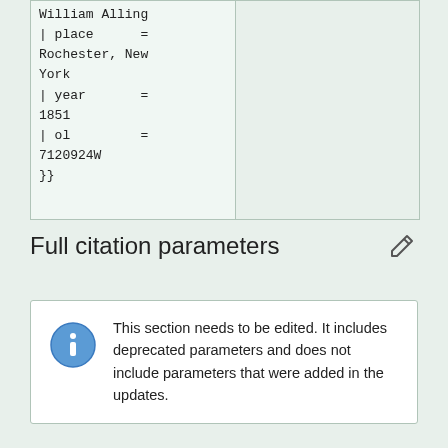William Alling
| place      =
Rochester, New
York
| year       =
1851
| ol         =
7120924W
}}
Full citation parameters
This section needs to be edited. It includes deprecated parameters and does not include parameters that were added in the updates.